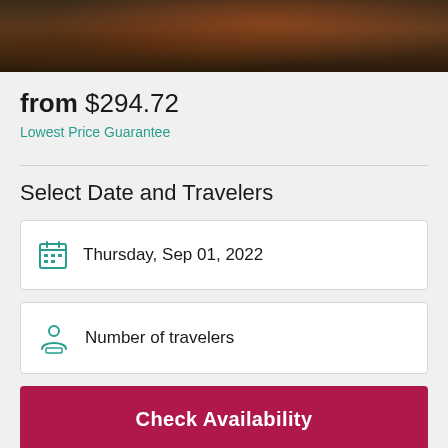[Figure (photo): Dark food/drink photo strip at top of page, showing what appears to be a dark-colored drink or dessert]
from $294.72
Lowest Price Guarantee
Select Date and Travelers
Thursday, Sep 01, 2022
Number of travelers
Check Availability
Free cancellation
Up to 24 hours in advance. Learn more